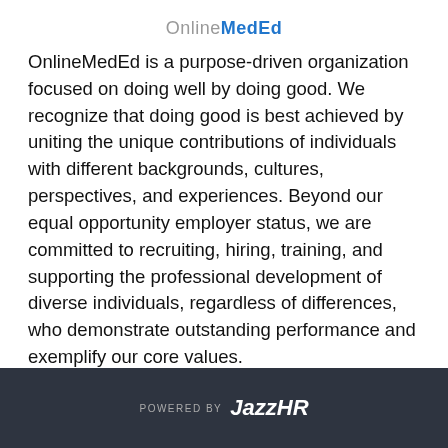Online MedEd
OnlineMedEd is a purpose-driven organization focused on doing well by doing good. We recognize that doing good is best achieved by uniting the unique contributions of individuals with different backgrounds, cultures, perspectives, and experiences. Beyond our equal opportunity employer status, we are committed to recruiting, hiring, training, and supporting the professional development of diverse individuals, regardless of differences, who demonstrate outstanding performance and exemplify our core values.
[Figure (other): Two buttons: a gray SHARE button and a blue APPLY button]
POWERED BY JazzHR